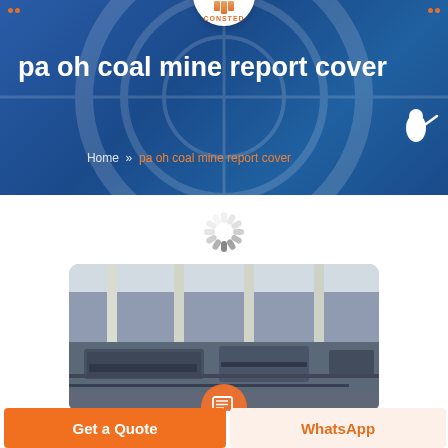CONSTED
pa oh coal mine report cover
Home » pa oh coal mine report cover
[Figure (photo): Industrial factory floor showing large mining machinery and equipment in a warehouse with tall columns]
Get a Quote
WhatsApp